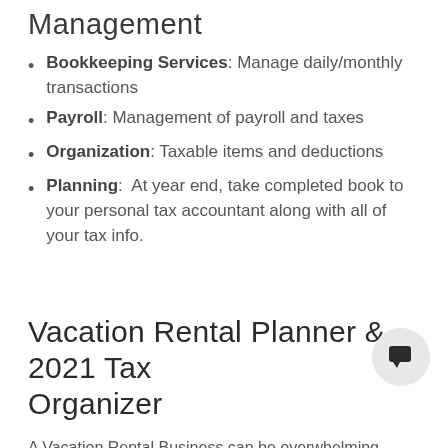Management
Bookkeeping Services: Manage daily/monthly transactions
Payroll: Management of payroll and taxes
Organization: Taxable items and deductions
Planning: At year end, take completed book to your personal tax accountant along with all of your tax info.
Vacation Rental Planner & 2021 Tax Organizer
A Vacation Rental Business can be overwhelming, especially for newbies. This book is designed to help